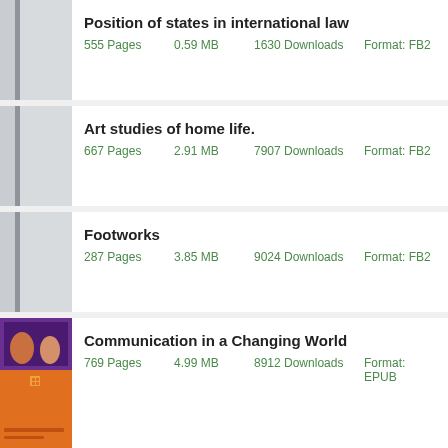Position of states in international law — 555 Pages, 0.59 MB, 1630 Downloads, Format: FB2
Art studies of home life. — 667 Pages, 2.91 MB, 7907 Downloads, Format: FB2
Footworks — 287 Pages, 3.85 MB, 9024 Downloads, Format: FB2
Communication in a Changing World — 769 Pages, 4.99 MB, 8912 Downloads, Format: EPUB